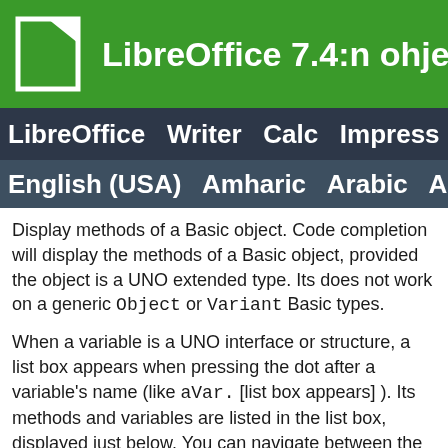LibreOffice 7.4:n ohje
LibreOffice  Writer  Calc  Impress  Draw
English (USA)  Amharic  Arabic  Asturi
Display methods of a Basic object. Code completion will display the methods of a Basic object, provided the object is a UNO extended type. Its does not work on a generic Object or Variant Basic types.
When a variable is a UNO interface or structure, a list box appears when pressing the dot after a variable's name (like aVar.[list box appears] ). Its methods and variables are listed in the list box, displayed just below. You can navigate between the suggested methods and variables with the arrow keys. To insert the selected entry, press the Enter